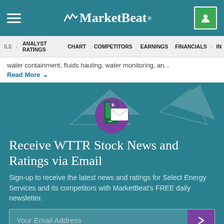MarketBeat
ILE  ANALYST RATINGS  CHART  COMPETITORS  EARNINGS  FINANCIALS  IN
water containment, fluids hauling, water monitoring, an...
Read More
[Figure (illustration): Notification/email icon with a phone and envelope with badge showing '6']
Receive WTTR Stock News and Ratings via Email
Sign-up to receive the latest news and ratings for Select Energy Services and its competitors with MarketBeat's FREE daily newsletter.
Your Email Address